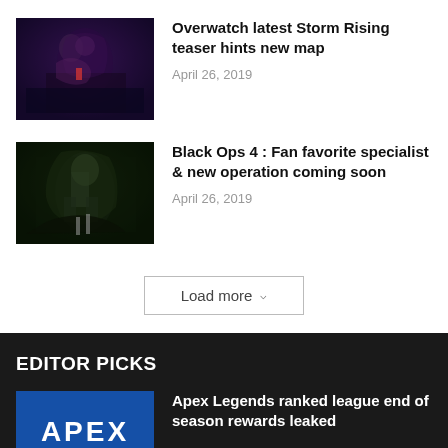[Figure (photo): Overwatch Storm Rising teaser image - dark purple/blue toned game artwork]
Overwatch latest Storm Rising teaser hints new map
April 26, 2019
[Figure (photo): Black Ops 4 game artwork - dark green toned image of armored character]
Black Ops 4 : Fan favorite specialist & new operation coming soon
April 26, 2019
Load more
EDITOR PICKS
[Figure (photo): Apex Legends logo on blue background]
Apex Legends ranked league end of season rewards leaked